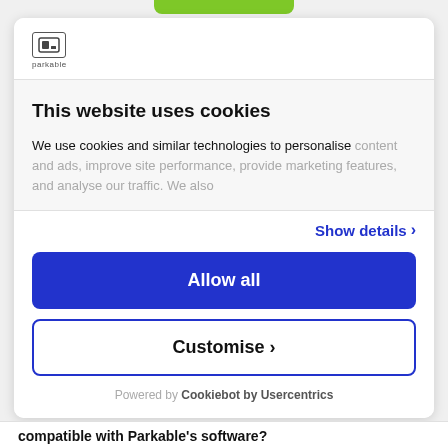[Figure (logo): Parkable logo with small icon and text 'parkable']
This website uses cookies
We use cookies and similar technologies to personalise content and ads, improve site performance, provide marketing features, and analyse our traffic. We also
Show details ›
Allow all
Customise ›
Powered by Cookiebot by Usercentrics
compatible with Parkable's software?